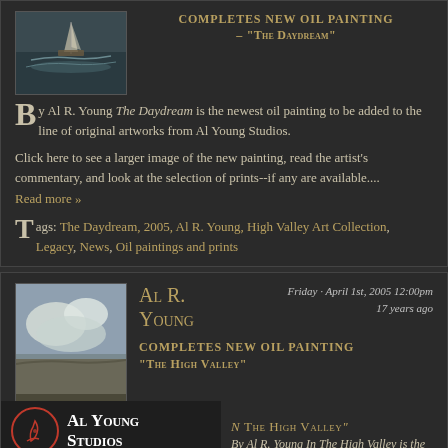[Figure (illustration): Thumbnail of a sailing ship painting in dark maritime style]
COMPLETES NEW OIL PAINTING - "The Daydream"
By Al R. Young The Daydream is the newest oil painting to be added to the line of original artworks from Al Young Studios.
Click here to see a larger image of the new painting, read the artist's commentary, and look at the selection of prints--if any are available.... Read more »
Tags: The Daydream, 2005, Al R. Young, High Valley Art Collection, Legacy, News, Oil paintings and prints
[Figure (illustration): Thumbnail of a cloudy landscape painting]
Al R. Young
Friday - April 1st, 2005 12:00pm 17 years ago
COMPLETES NEW OIL PAINTING - "THE HIGH VALLEY"
[Figure (logo): Al Young Studios logo with red circle signature and white text]
By Al R. Young In The High Valley is the